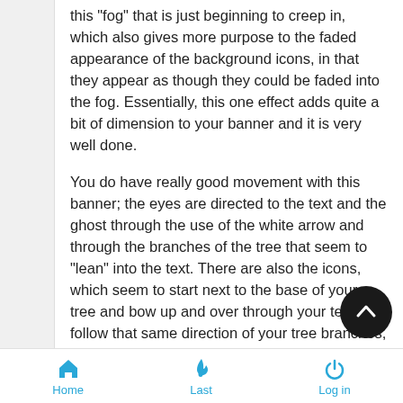this "fog" that is just beginning to creep in, which also gives more purpose to the faded appearance of the background icons, in that they appear as though they could be faded into the fog. Essentially, this one effect adds quite a bit of dimension to your banner and it is very well done.
You do have really good movement with this banner; the eyes are directed to the text and the ghost through the use of the white arrow and through the branches of the tree that seem to "lean" into the text. There are also the icons, which seem to start next to the base of your tree and bow up and over through your text to follow that same direction of your tree branches, which accentuates this movement further. An image that provides good movement for the viewer makes the artwork more appealing, visually speaking. Excellent job.
Home  Last  Log in